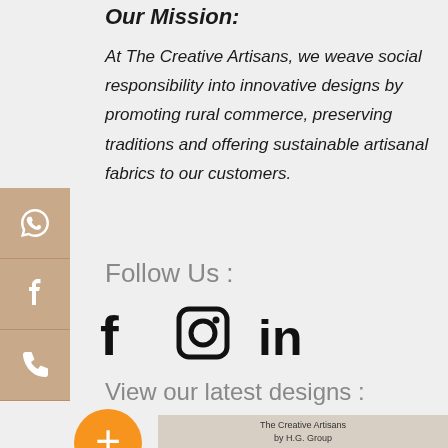Our Mission:
At The Creative Artisans, we weave social responsibility into innovative designs by promoting rural commerce, preserving traditions and offering sustainable artisanal fabrics to our customers.
Follow Us :
[Figure (infographic): Social media icons: Facebook, Instagram, LinkedIn]
View our latest designs :
[Figure (photo): The Creative Artisans by H.G. Group – fabric design samples showing leaf/teardrop shaped textile swatches in various colors and patterns]